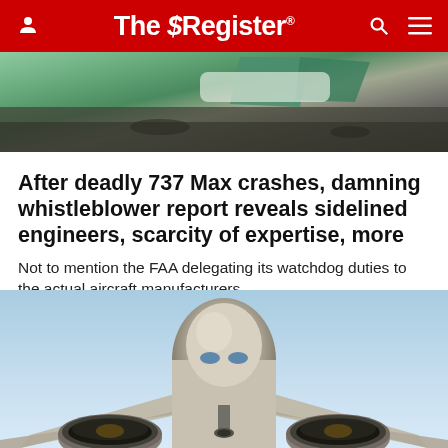The Register
[Figure (photo): Aerial view of a crashed or damaged aircraft, showing blue/green tail and debris on dark ground]
After deadly 737 Max crashes, damning whistleblower report reveals sidelined engineers, scarcity of expertise, more
Not to mention the FAA delegating its watchdog duties to the actual aircraft manufacturers
SOFTWARE   15 Dec 2021 | 181 comments
[Figure (photo): Front-on view of a large commercial aircraft on approach or takeoff, blue sky background, showing nose, engines and landing gear]